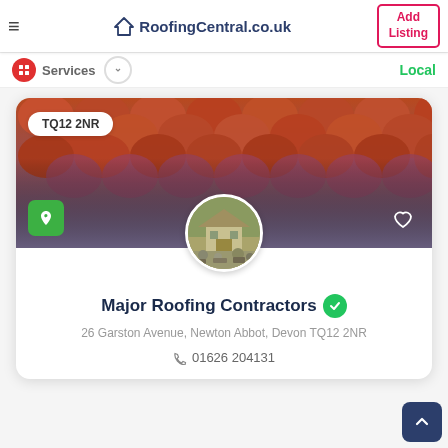RoofingCentral.co.uk — Add Listing
Services — Local
[Figure (screenshot): Roofing tile photo used as hero/banner for the business listing card showing terracotta roof tiles with a gradient overlay]
TQ12 2NR
[Figure (photo): Circular profile photo of a stone building under construction or repair]
Major Roofing Contractors
26 Garston Avenue, Newton Abbot, Devon TQ12 2NR
01626 204131